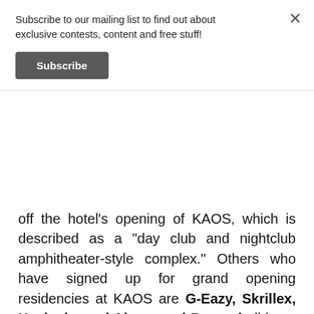Subscribe to our mailing list to find out about exclusive contests, content and free stuff!
Subscribe
off the hotel’s opening of KAOS, which is described as a “day club and nightclub amphitheater-style complex.” Others who have signed up for grand opening residencies at KAOS are G-Eazy, Skrillex, Kaskade, and Above and Beyond all have their own residencies.
Page Six @PageSix · Follow
Cardi B Las Vegas residency announced at